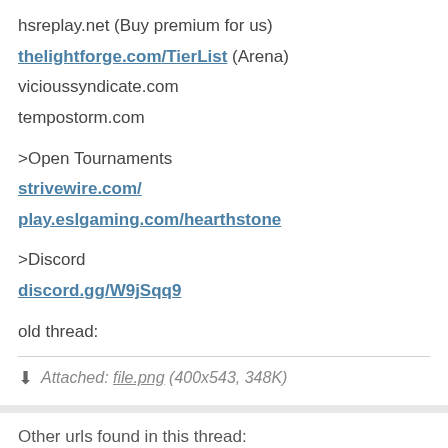hsreplay.net (Buy premium for us)
thelightforge.com/TierList (Arena)
vicioussyndicate.com
tempostorm.com
>Open Tournaments
strivewire.com/
play.eslgaming.com/hearthstone
>Discord
discord.gg/W9jSqq9
old thread:
Attached: file.png (400x543, 348K)
Other urls found in this thread:
reddit.com/r/CompetitiveHS/comments/87haqs/witchwood_card_reveal_discussion_27032018/dwdn81a/